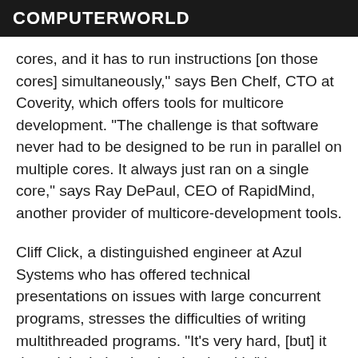COMPUTERWORLD
cores, and it has to run instructions [on those cores] simultaneously," says Ben Chelf, CTO at Coverity, which offers tools for multicore development. "The challenge is that software never had to be designed to be run in parallel on multiple cores. It always just ran on a single core," says Ray DePaul, CEO of RapidMind, another provider of multicore-development tools.
Cliff Click, a distinguished engineer at Azul Systems who has offered technical presentations on issues with large concurrent programs, stresses the difficulties of writing multithreaded programs. "It's very hard, [but] it doesn't look that hard to begin with," he says.